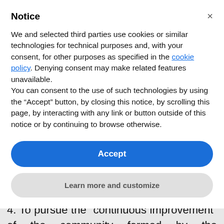Notice
We and selected third parties use cookies or similar technologies for technical purposes and, with your consent, for other purposes as specified in the cookie policy. Denying consent may make related features unavailable.
You can consent to the use of such technologies by using the “Accept” button, by closing this notice, by scrolling this page, by interacting with any link or button outside of this notice or by continuing to browse otherwise.
Accept
Learn more and customize
internationalisation and expansion;
4. To pursue the “continuous improvement” of the community formed by the collaboration between the Studio and